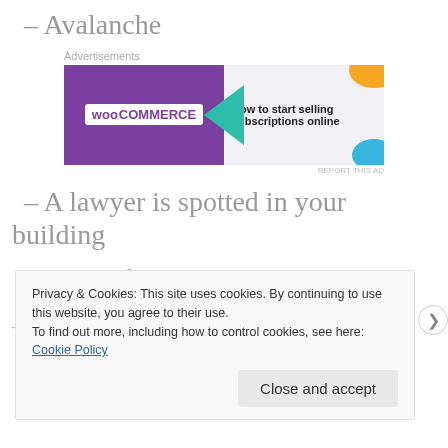– Avalanche
[Figure (screenshot): WooCommerce advertisement banner: 'How to start selling subscriptions online']
– A lawyer is spotted in your building
– Forest fire
Privacy & Cookies: This site uses cookies. By continuing to use this website, you agree to their use. To find out more, including how to control cookies, see here: Cookie Policy